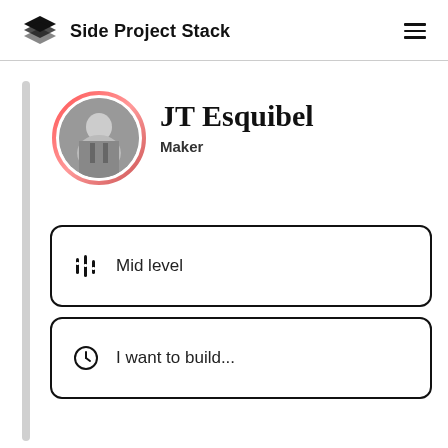Side Project Stack
[Figure (logo): Stack of layers icon (logo) for Side Project Stack]
JT Esquibel
Maker
[Figure (photo): Circular profile photo of JT Esquibel with pink/red gradient ring border, black and white photo of person in suit]
Mid level
I want to build...